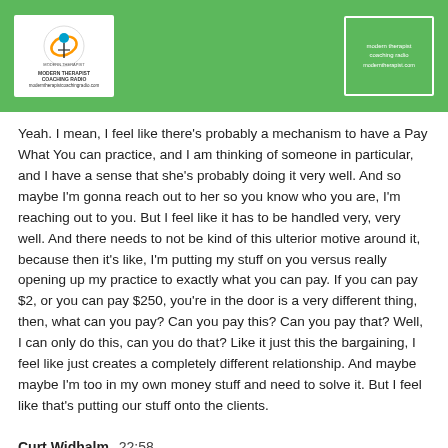Logo and header area with green background
Yeah. I mean, I feel like there's probably a mechanism to have a Pay What You can practice, and I am thinking of someone in particular, and I have a sense that she's probably doing it very well. And so maybe I'm gonna reach out to her so you know who you are, I'm reaching out to you. But I feel like it has to be handled very, very well. And there needs to not be kind of this ulterior motive around it, because then it's like, I'm putting my stuff on you versus really opening up my practice to exactly what you can pay. If you can pay $2, or you can pay $250, you're in the door is a very different thing, then, what can you pay? Can you pay this? Can you pay that? Well, I can only do this, can you do that? Like it just this the bargaining, I feel like just creates a completely different relationship. And maybe maybe I'm too in my own money stuff and need to solve it. But I feel like that's putting our stuff onto the clients.
Curt Widhalm  22:58
So switching gears here, some, a lot of us love to add new